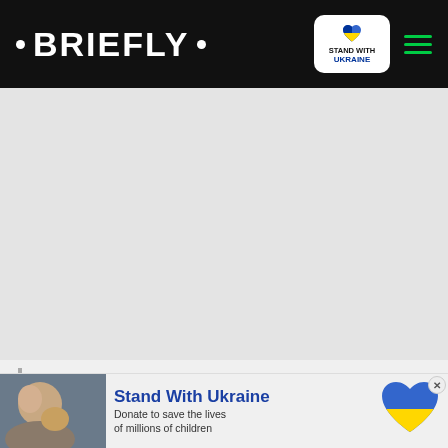• BRIEFLY •
[Figure (logo): Briefly news site logo on black header bar with Ukraine badge and hamburger menu]
[Figure (other): Gray advertisement placeholder area]
“African DNA Test!!!”
[Figure (other): Red chevron/dropdown button]
[Figure (other): Stand With Ukraine donation banner with photo of child and Ukraine heart logo]